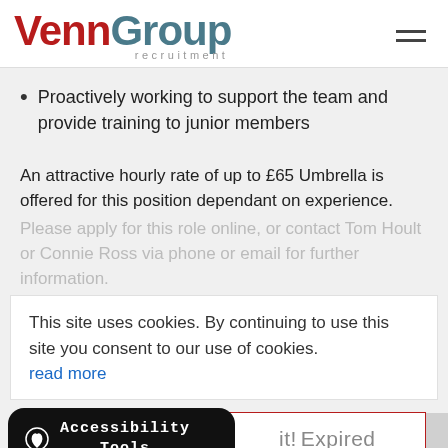VennGroup recruitment
Proactively working to support the team and provide training to junior members
An attractive hourly rate of up to £65 Umbrella is offered for this position dependant on experience.
Please apply for this role online, or contact Tom Hoult or Connie Ross via phone or email for further information.
This site uses cookies. By continuing to use this site you consent to our use of cookies. read more
it! Expired
Accessibility Tools